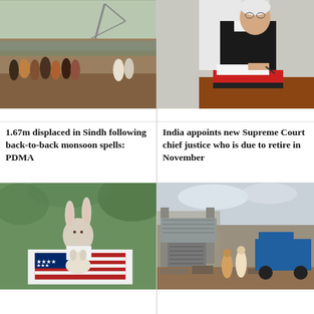[Figure (photo): Flood scene in Sindh with a crane, muddy water and people gathered on embankment]
[Figure (photo): Indian Supreme Court chief justice signing documents at a desk, wearing black robes]
1.67m displaced in Sindh following back-to-back monsoon spells: PDMA
India appoints new Supreme Court chief justice who is due to retire in November
[Figure (photo): Stuffed bunny and dog toys placed on boxes with US flag, outdoors with greenery]
[Figure (photo): Men clearing rubble from a damaged building after a disaster, with a blue vehicle nearby]